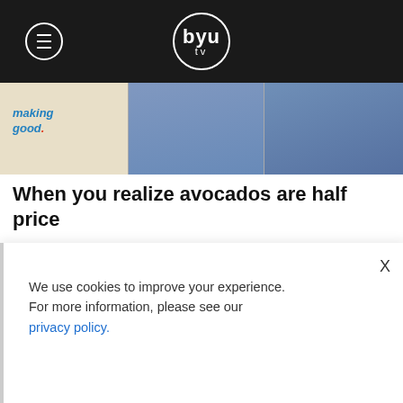BYU tv
[Figure (screenshot): Video thumbnail showing 'making good.' show with person in blue shirt on beige background]
When you realize avocados are half price
[Figure (screenshot): Video player showing a blonde person looking down in a store aisle, with KirbyCam watermark and red recording dot]
We use cookies to improve your experience.
For more information, please see our privacy policy.